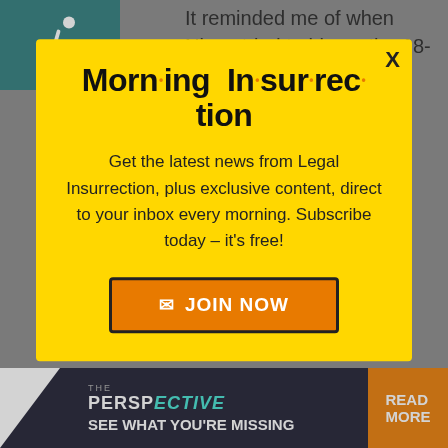[Figure (logo): Teal square with white wheelchair accessibility icon]
It reminded me of when Nixon tried to blame the 18-minute gap on the Watergate tape on
Morn·ing In·sur·rec·tion
Get the latest news from Legal Insurrection, plus exclusive content, direct to your inbox every morning. Subscribe today – it's free!
JOIN NOW
the official version. Anyone who wants to give into this — not t…
[Figure (screenshot): Bottom advertisement banner: THE PERSPECTIVE — SEE WHAT YOU'RE MISSING — READ MORE]